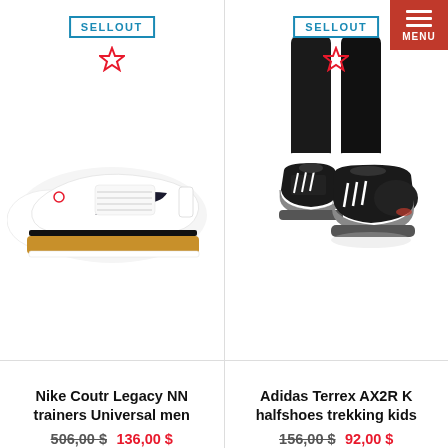[Figure (photo): Nike white sneaker with black swoosh and gold sole - Nike Coutr Legacy NN trainers]
[Figure (photo): Adidas black trekking halfshoes on person's feet with dark pants - Adidas Terrex AX2R K]
Nike Coutr Legacy NN trainers Universal men
506,00 $ 136,00 $
Adidas Terrex AX2R K halfshoes trekking kids
156,00 $ 92,00 $
[Figure (photo): Black sandal with butterfly decoration - children's shoe]
[Figure (photo): Black running shoe with red accent - athletic shoe]